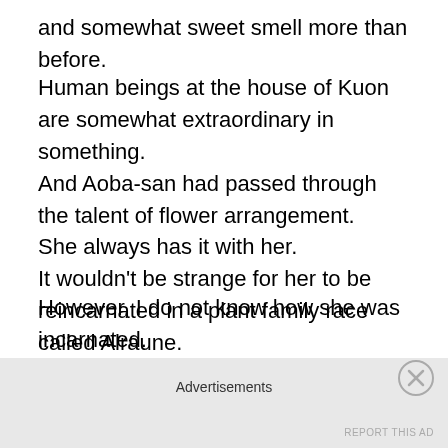and somewhat sweet smell more than before.
Human beings at the house of Kuon are somewhat extraordinary in something.
And Aoba-san had passed through the talent of flower arrangement.
She always has it with her.
It wouldn’t be strange for her to be reincarnated in a plant family race called Alraune.
Or rather, it feels more like Aoba-san.
However, I do not know how she was incarnated.
According to Miko-san, reincarnation seems to be kind of apology, given to the person after their death at a world
Advertisements